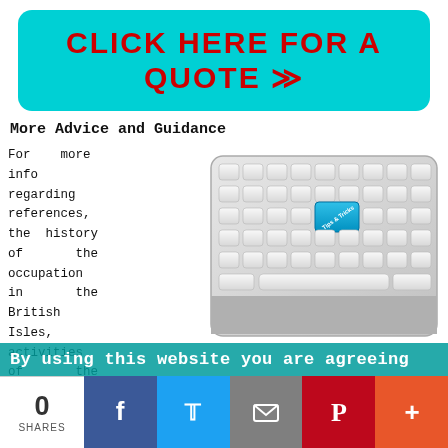[Figure (other): Cyan/teal rounded button with red bold text: CLICK HERE FOR A QUOTE >>]
More Advice and Guidance
For more info regarding references, the history of the occupation in the British Isles, activities of the trade and wallpapering, visit the Wikipedia page (HERE). You should really head off to Rated People or the government authorized Trustmark website, if you would like to do a search of recommended local painters in Stenhousemuir. You can also look up approved Stenhousemuir
[Figure (photo): Close-up photo of a white keyboard with one blue key labeled 'Tips & Tricks']
By using this website you are agreeing
[Figure (infographic): Social share bar with share count 0 SHARES and buttons for Facebook, Twitter, Email, Pinterest, and More]